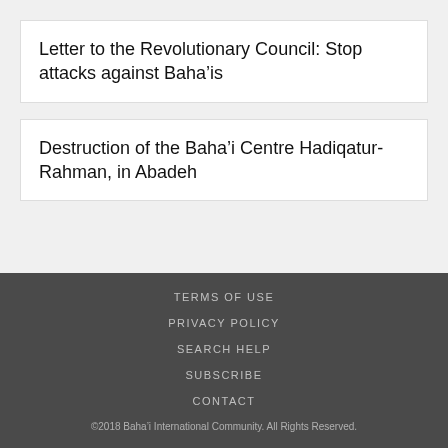Letter to the Revolutionary Council: Stop attacks against Baha’is
Destruction of the Baha’i Centre Hadiqatur-Rahman, in Abadeh
TERMS OF USE
PRIVACY POLICY
SEARCH HELP
SUBSCRIBE
CONTACT
©2018 Baha’i International Community. All Rights Reserved.